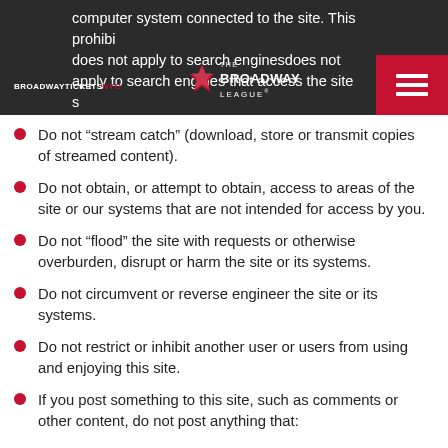computer system connected to the site. This prohibition does not apply to search engines that access the site solely for web indexing purposes.
Do not “stream catch” (download, store or transmit copies of streamed content).
Do not obtain, or attempt to obtain, access to areas of the site or our systems that are not intended for access by you.
Do not “flood” the site with requests or otherwise overburden, disrupt or harm the site or its systems.
Do not circumvent or reverse engineer the site or its systems.
Do not restrict or inhibit another user or users from using and enjoying this site.
If you post something to this site, such as comments or other content, do not post anything that: